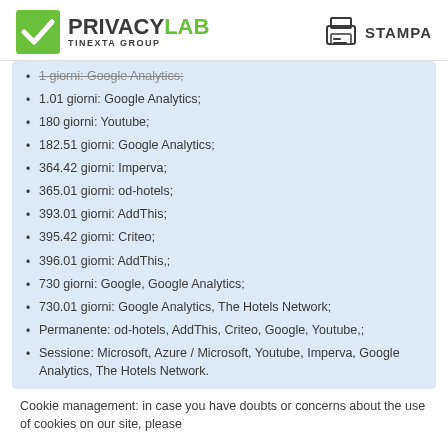PRIVACY LAB - TINEXTA GROUP | STAMPA
1 giorni: Google Analytics;
1.01 giorni: Google Analytics;
180 giorni: Youtube;
182.51 giorni: Google Analytics;
364.42 giorni: Imperva;
365.01 giorni: od-hotels;
393.01 giorni: AddThis;
395.42 giorni: Criteo;
396.01 giorni: AddThis,;
730 giorni: Google, Google Analytics;
730.01 giorni: Google Analytics, The Hotels Network;
Permanente: od-hotels, AddThis, Criteo, Google, Youtube,;
Sessione: Microsoft, Azure / Microsoft, Youtube, Imperva, Google Analytics, The Hotels Network.
Cookie management: in case you have doubts or concerns about the use of cookies on our site, please